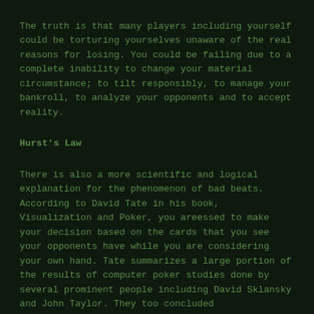The truth is that many players including yourself could be torturing yourselves unaware of the real reasons for losing. You could be failing due to a complete inability to change your material circumstance; to tilt responsibly, to manage your bankroll, to analyze your opponents and to accept reality.
Hurst's Law
There is also a more scientific and logical explanation for the phenomenon of bad beats. According to David Tate in his book, Visualization and Poker, you areessed to make your decision based on the cards that you see your opponents have while you are considering your own hand. Tate summarizes a large portion of the results of computer poker studies done by several prominent people including David Sklansky and John Taylor. They too concluded